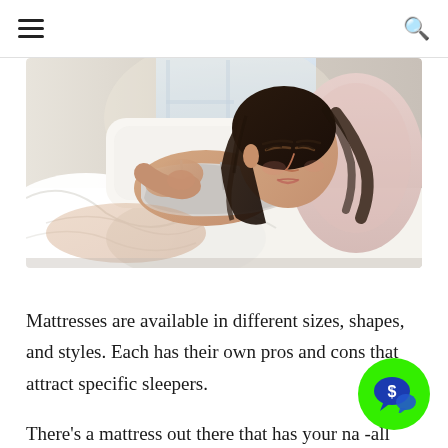≡  🔍
[Figure (photo): A young woman with dark hair sleeping peacefully on a white bed with white pillows, wearing a light gray tank top. A pink pillow is visible on the right. Soft natural light from a window in the background.]
Mattresses are available in different sizes, shapes, and styles. Each has their own pros and cons that attract specific sleepers.
There's a mattress out there that has your na -all you have to do is conduct a bit of study to